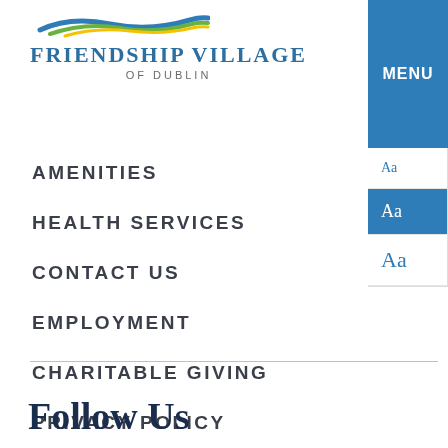Friendship Village of Dublin
AMENITIES
HEALTH SERVICES
CONTACT US
EMPLOYMENT
CHARITABLE GIVING
PRIVACY POLICY
Follow Us